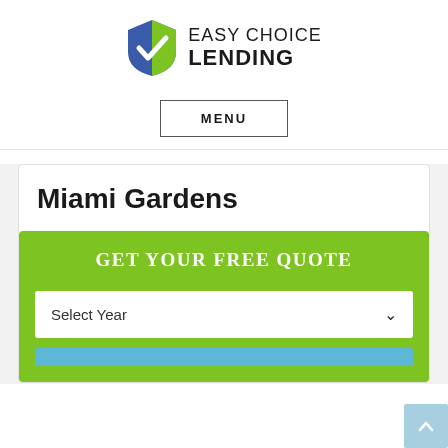[Figure (logo): Easy Choice Lending logo with blue and green shield containing a white checkmark, beside text 'EASY CHOICE LENDING']
MENU
Miami Gardens
GET YOUR FREE QUOTE
Select Year